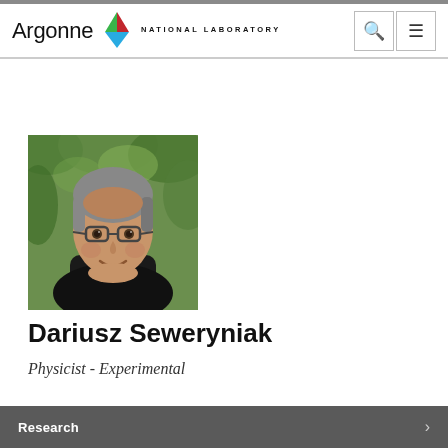Argonne NATIONAL LABORATORY
[Figure (photo): Headshot photo of Dariusz Seweryniak, a middle-aged man with gray hair and glasses, wearing a black shirt, outdoors with green foliage background]
Dariusz Seweryniak
Physicist - Experimental
Research